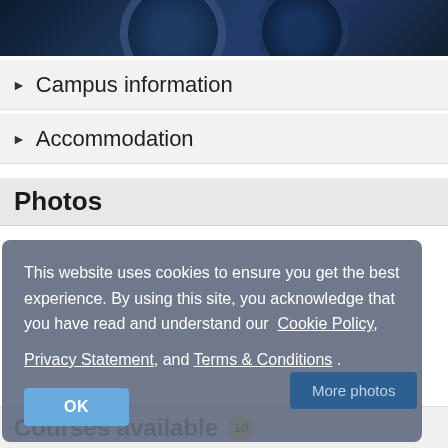[Figure (photo): Dark blue image of mechanical/gear equipment, partially visible at top of page]
Campus information
Accommodation
Photos
This website uses cookies to ensure you get the best experience. By using this site, you acknowledge that you have read and understand our Cookie Policy, Privacy Statement, and Terms & Conditions .
More photos
OK
Courses available 10